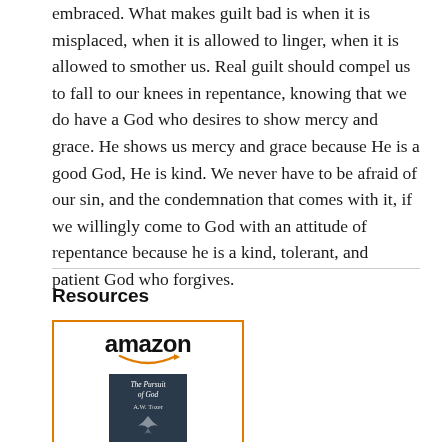embraced. What makes guilt bad is when it is misplaced, when it is allowed to linger, when it is allowed to smother us. Real guilt should compel us to fall to our knees in repentance, knowing that we do have a God who desires to show mercy and grace. He shows us mercy and grace because He is a good God, He is kind. We never have to be afraid of our sin, and the condemnation that comes with it, if we willingly come to God with an attitude of repentance because he is a kind, tolerant, and patient God who forgives.
Resources
[Figure (other): Amazon product listing box with orange border showing the Amazon logo with smile arrow and a book cover for 'The Pursuit of God' by A.W. Tozer]